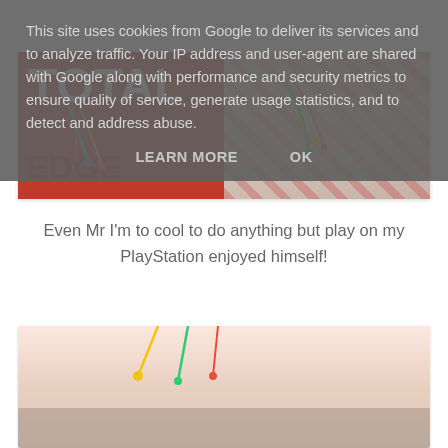[Figure (photo): Two-panel photo collage: left panel shows a red t-shirt with 'TOTAL' text and colorful craft necklaces; right panel shows a smiling young girl wearing a patterned red and white dress with craft necklaces]
Even Mr I'm to cool to do anything but play on my PlayStation enjoyed himself!
[Figure (photo): Partial view of a bottom image, appears to show craft items or decorations, partially cut off at bottom of page]
This site uses cookies from Google to deliver its services and to analyze traffic. Your IP address and user-agent are shared with Google along with performance and security metrics to ensure quality of service, generate usage statistics, and to detect and address abuse.
LEARN MORE    OK